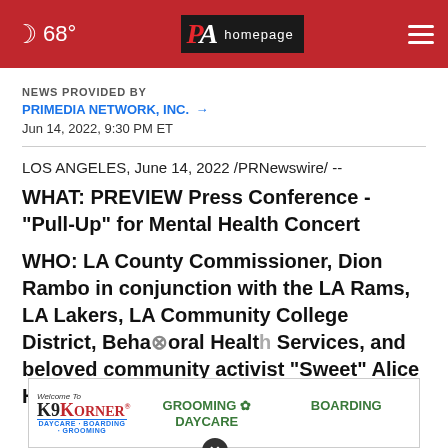68° PA homepage
NEWS PROVIDED BY
PRIMEDIA NETWORK, INC. →
Jun 14, 2022, 9:30 PM ET
LOS ANGELES, June 14, 2022 /PRNewswire/ --
WHAT: PREVIEW Press Conference - "Pull-Up" for Mental Health Concert
WHO: LA County Commissioner, Dion Rambo in conjunction with the LA Rams, LA Lakers, LA Community College District, Behavioral Health Services, and beloved community activist "Sweet" Alice Harris.
[Figure (other): K9 Korner advertisement banner showing grooming, daycare, and boarding services]